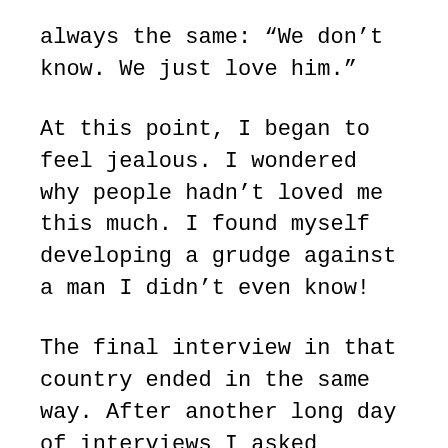always the same: “We don’t know. We just love him.”
At this point, I began to feel jealous. I wondered why people hadn’t loved me this much. I found myself developing a grudge against a man I didn’t even know!
The final interview in that country ended in the same way. After another long day of interviews I asked again, “What makes a good worker from the West? What makes a good missionary?”
While I silently prayed not to hear the same answer, they said to me, “We don’t know what makes a good missionary, but we can tell you the